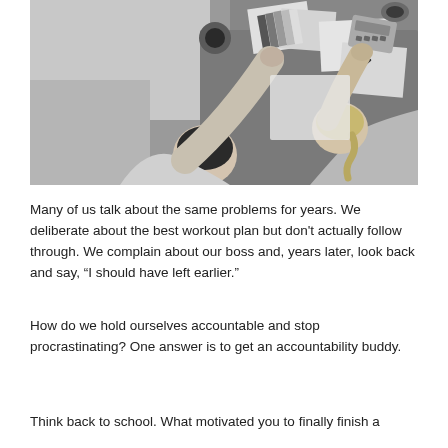[Figure (photo): Overhead black-and-white photograph of two people sitting at a desk covered with papers, color swatches, coffee cups, and a calculator, viewed from directly above.]
Many of us talk about the same problems for years. We deliberate about the best workout plan but don't actually follow through. We complain about our boss and, years later, look back and say, “I should have left earlier.”
How do we hold ourselves accountable and stop procrastinating? One answer is to get an accountability buddy.
Think back to school. What motivated you to finally finish a